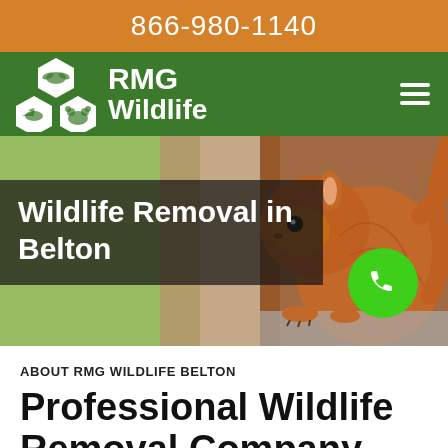866-980-1140
[Figure (logo): RMG Wildlife logo with hexagonal animal icons and text on green navigation bar]
[Figure (photo): Hero banner showing a red squirrel on a surface with blurred green and brown background. Text overlay reads 'Wildlife Removal in Belton' with a green phone button.]
Wildlife Removal in Belton
ABOUT RMG WILDLIFE BELTON
Professional Wildlife Removal Company